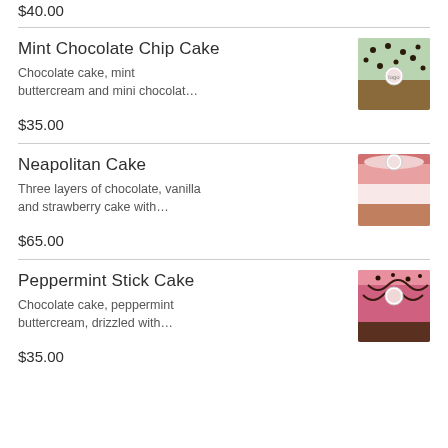$40.00
Mint Chocolate Chip Cake
Chocolate cake, mint buttercream and mini chocolat…
[Figure (photo): Photo of a mint chocolate chip cake with chocolate chips on top and a round logo topper]
$35.00
Neapolitan Cake
Three layers of chocolate, vanilla and strawberry cake with…
[Figure (photo): Photo of a Neapolitan cake with pink and white layered frosting and a round logo topper]
$65.00
Peppermint Stick Cake
Chocolate cake, peppermint buttercream, drizzled with…
[Figure (photo): Photo of a peppermint stick cake with pink frosting and chocolate drizzle]
$35.00